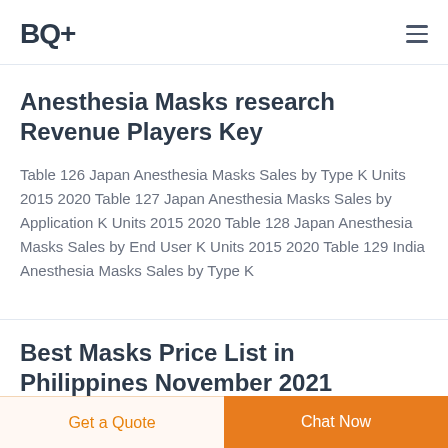BQ+
Anesthesia Masks research Revenue Players Key
Table 126 Japan Anesthesia Masks Sales by Type K Units 2015 2020 Table 127 Japan Anesthesia Masks Sales by Application K Units 2015 2020 Table 128 Japan Anesthesia Masks Sales by End User K Units 2015 2020 Table 129 India Anesthesia Masks Sales by Type K
Best Masks Price List in Philippines November 2021
Get a Quote | Chat Now